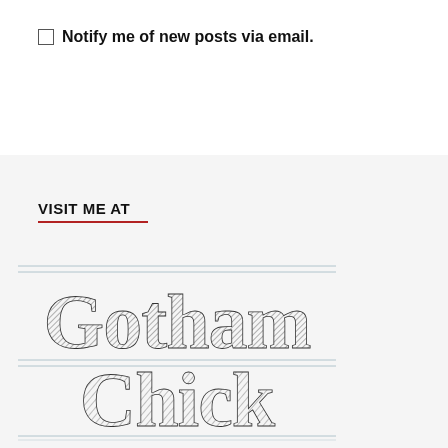Notify me of new posts via email.
VISIT ME AT
[Figure (logo): Gotham Chick logo — hand-sketched serif lettering reading 'Gotham Chick' with subtitle 'Blogging here, selling on Etsy']